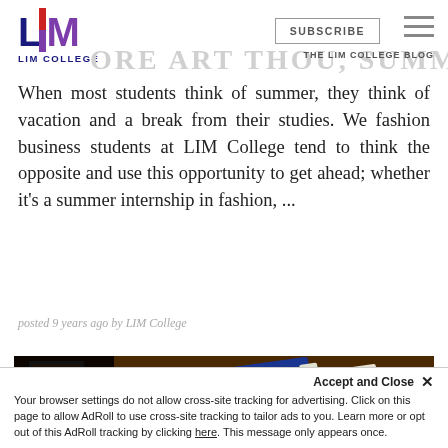LIM COLLEGE — THE LIM COLLEGE BLOG
When most students think of summer, they think of vacation and a break from their studies. We fashion business students at LIM College tend to think the opposite and use this opportunity to get ahead; whether it's a summer internship in fashion, ...
posted 9 years ago by LIM College
[Figure (photo): Dark photo of a desk with books, pens (blue and red), and an eraser on a wooden surface]
Accept and Close ✕
Your browser settings do not allow cross-site tracking for advertising. Click on this page to allow AdRoll to use cross-site tracking to tailor ads to you. Learn more or opt out of this AdRoll tracking by clicking here. This message only appears once.